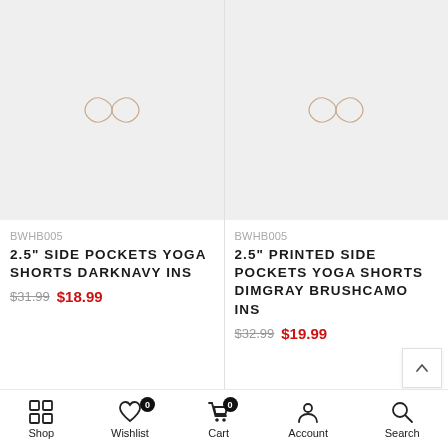[Figure (photo): Product image placeholder with infinity-like logo for 2.5" Side Pockets Yoga Shorts DarkNavy]
BWHB005
2.5" SIDE POCKETS YOGA SHORTS DARKNAVY INS
$31.99  $18.99
[Figure (photo): Product image placeholder with infinity-like logo for 2.5" Printed Side Pockets Yoga Shorts Dimgray Brushcamo]
BWHB005
2.5" PRINTED SIDE POCKETS YOGA SHORTS DIMGRAY BRUSHCAMO INS
$32.99  $19.99
Shop   Wishlist 0   Cart 0   Account   Search